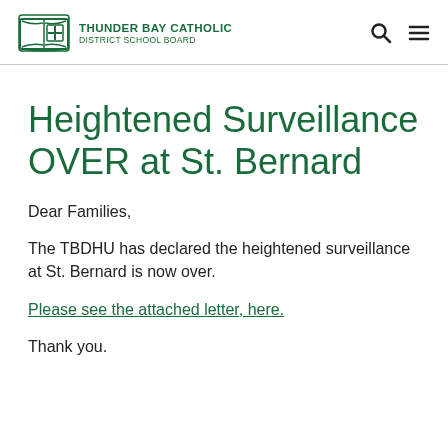[Figure (logo): Thunder Bay Catholic District School Board logo — open book with cross icon in green, beside organization name in green uppercase text]
Heightened Surveillance OVER at St. Bernard
Dear Families,
The TBDHU has declared the heightened surveillance at St. Bernard is now over.
Please see the attached letter, here.
Thank you.